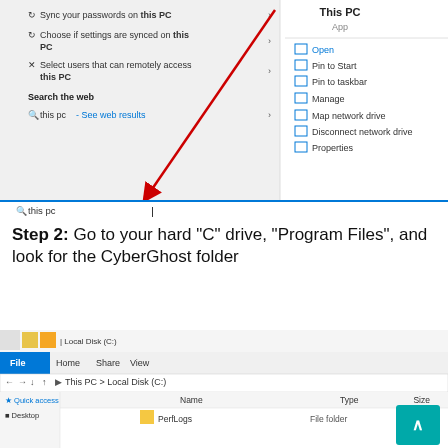[Figure (screenshot): Windows 10 Start Menu search results for 'this pc' showing sync settings options on the left panel, and a right-click context menu for 'This PC' app on the right showing Open, Pin to Start, Pin to taskbar, Manage, Map network drive, Disconnect network drive, Properties. A red arrow points from the search results to the taskbar search box at the bottom showing 'this pc'. A blue search bar at the bottom shows the typed text 'this pc'.]
Step 2: Go to your hard “C” drive, “Program Files”, and look for the CyberGhost folder
[Figure (screenshot): Windows 10 File Explorer showing Local Disk (C:) with navigation bar showing This PC > Local Disk (C:). Left panel shows Quick access and Desktop. Main panel shows Name, Type, Size columns with PerfLogs listed as File folder. A teal scroll-to-top button appears in the bottom-right corner.]